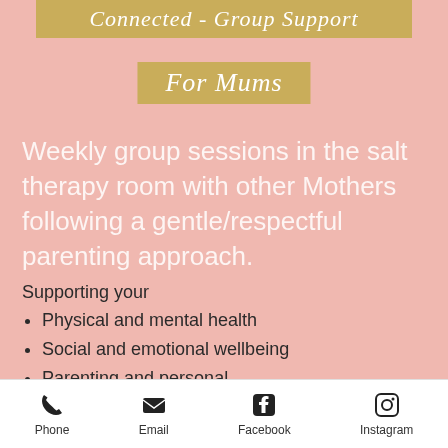Connected - Group Support
For Mums
Weekly group sessions in the salt therapy room with other Mothers following a gentle/respectful parenting approach.
Supporting your
Physical and mental health
Social and emotional wellbeing
Parenting and personal
Phone  Email  Facebook  Instagram